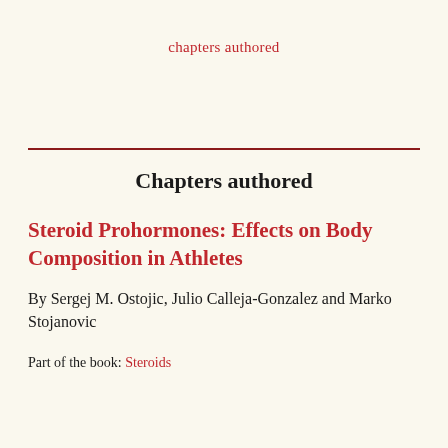chapters authored
Chapters authored
Steroid Prohormones: Effects on Body Composition in Athletes
By Sergej M. Ostojic, Julio Calleja-Gonzalez and Marko Stojanovic
Part of the book: Steroids